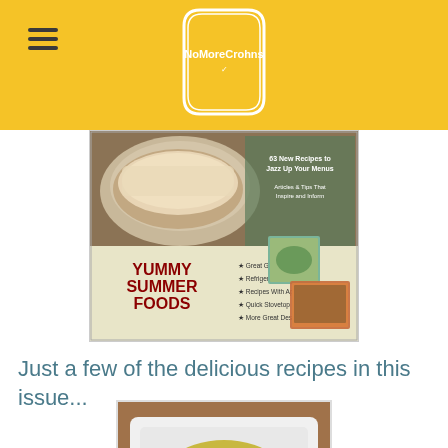NoMoreCrohns
[Figure (illustration): Magazine cover for Yummy Summer Foods issue showing grilled food, pickles, and other summer dishes with text bullet points]
Just a few of the delicious recipes in this issue...
[Figure (photo): Bowl of soup or stew with green peas, carrots, mushrooms, and a spoon in a white square bowl]